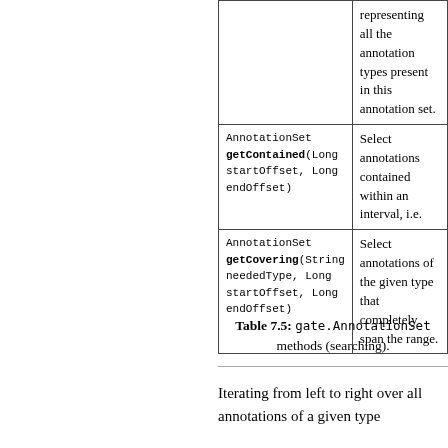| Method | Description |
| --- | --- |
| AnnotationSet getContained(Long startOffset, Long endOffset) | Select annotations contained within an interval, i.e. |
| AnnotationSet getCovering(String neededType, Long startOffset, Long endOffset) | Select annotations of the given type that completely span the range. |
Table 7.5: gate.AnnotationSet methods (searching).
Iterating from left to right over all annotations of a given type